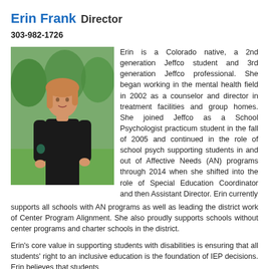Erin Frank Director
303-982-1726
[Figure (photo): Professional photo of Erin Frank, a woman with blonde hair wearing a black dress, standing outdoors with trees in the background.]
Erin is a Colorado native, a 2nd generation Jeffco student and 3rd generation Jeffco professional. She began working in the mental health field in 2002 as a counselor and director in treatment facilities and group homes. She joined Jeffco as a School Psychologist practicum student in the fall of 2005 and continued in the role of school psych supporting students in and out of Affective Needs (AN) programs through 2014 when she shifted into the role of Special Education Coordinator and then Assistant Director. Erin currently supports all schools with AN programs as well as leading the district work of Center Program Alignment. She also proudly supports schools without center programs and charter schools in the district.
Erin's core value in supporting students with disabilities is ensuring that all students' right to an inclusive education is the foundation of IEP decisions. Erin believes that students